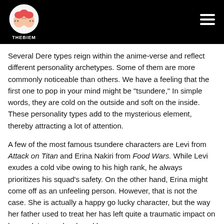THEBIEM
Several Dere types reign within the anime-verse and reflect different personality archetypes. Some of them are more commonly noticeable than others. We have a feeling that the first one to pop in your mind might be “tsundere,” In simple words, they are cold on the outside and soft on the inside. These personality types add to the mysterious element, thereby attracting a lot of attention.
A few of the most famous tsundere characters are Levi from Attack on Titan and Erina Nakiri from Food Wars. While Levi exudes a cold vibe owing to his high rank, he always prioritizes his squad’s safety. On the other hand, Erina might come off as an unfeeling person. However, that is not the case. She is actually a happy go lucky character, but the way her father used to treat her has left quite a traumatic impact on her and, in turn, hardened her.